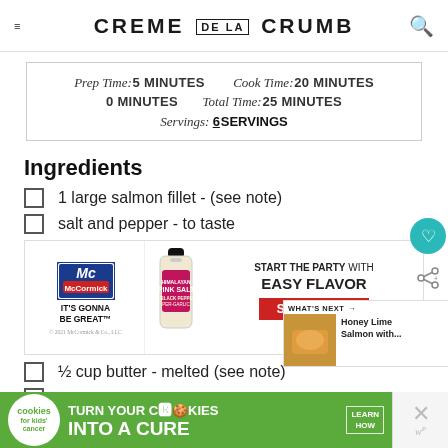CREME DE LA CRUMB
Prep Time: 5 MINUTES   Cook Time: 20 MINUTES
0 MINUTES   Total Time: 25 MINUTES
Servings: 6 SERVINGS
Ingredients
1 large salmon fillet - (see note)
salt and pepper - to taste
[Figure (other): McCormick advertisement banner: 'IT'S GONNA BE GREAT' with spice bottle image, 'START THE PARTY with EASY FLAVOR', 'SHOP NOW' button, Safeway branding]
½ cup butter - melted (see note)
juice of 2 limes - (plus one lime, thinly...
[Figure (other): Bottom advertisement: cookies for kids cancer - turn your COOKIES into a CURE LEARN HOW]